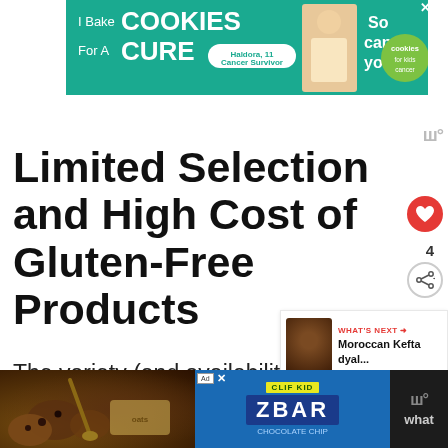[Figure (illustration): Advertisement banner for 'Cookies for Kids Cancer' showing 'I Bake COOKIES For A CURE' with a child cancer survivor named Haldora, age 11, and the tagline 'So can you!']
Limited Selection and High Cost of Gluten-Free Products
The variety (and availability) of specialty gluten-free products is considerably more li... what